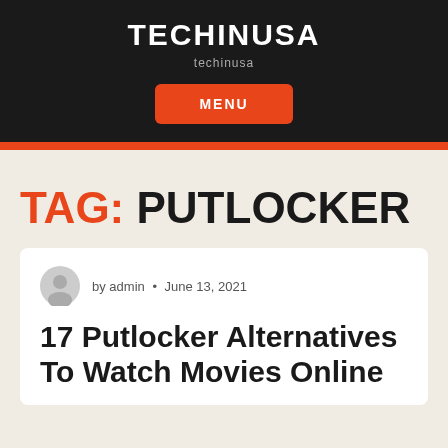TECHINUSA
techinusa
MENU
TAG: PUTLOCKER
by admin • June 13, 2021
17 Putlocker Alternatives To Watch Movies Online